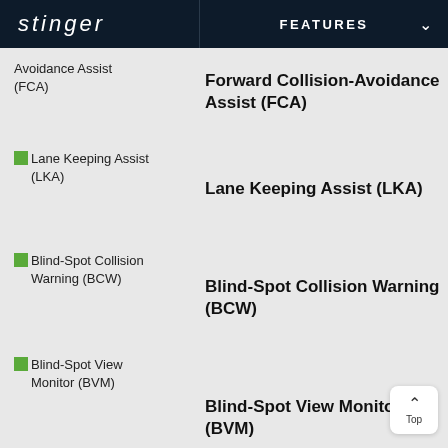stinger  FEATURES
Avoidance Assist (FCA)
Forward Collision-Avoidance Assist (FCA)
Lane Keeping Assist (LKA)
Lane Keeping Assist (LKA)
Blind-Spot Collision Warning (BCW)
Blind-Spot Collision Warning (BCW)
Blind-Spot View Monitor (BVM)
Blind-Spot View Monitor (BVM)